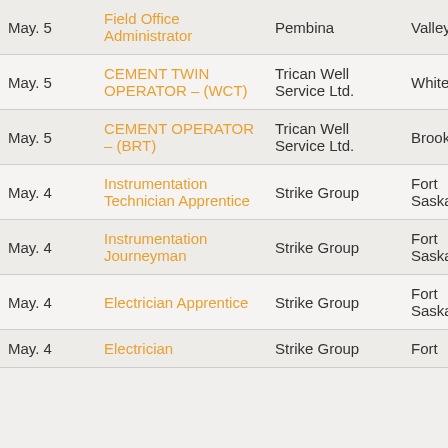| Date | Title | Company | Location |
| --- | --- | --- | --- |
| May. 5 | Field Office Administrator | Pembina | Valleyview |
| May. 5 | CEMENT TWIN OPERATOR – (WCT) | Trican Well Service Ltd. | Whitecourt |
| May. 5 | CEMENT OPERATOR – (BRT) | Trican Well Service Ltd. | Brooks |
| May. 4 | Instrumentation Technician Apprentice | Strike Group | Fort Saskatchewan |
| May. 4 | Instrumentation Journeyman | Strike Group | Fort Saskatchewan |
| May. 4 | Electrician Apprentice | Strike Group | Fort Saskatchewan |
| May. 4 | Electrician | Strike Group | Fort |